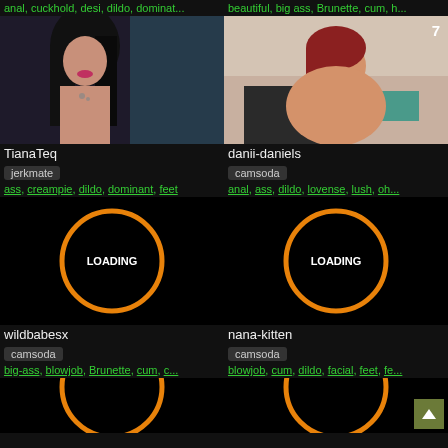anal, cuckhold, desi, dildo, dominat... | beautiful, big ass, Brunette, cum, h...
[Figure (photo): Thumbnail of TianaTeq, dark-haired woman]
TianaTeq
jerkmate
ass, creampie, dildo, dominant, feet
[Figure (photo): Thumbnail of danii-daniels, red-haired woman, badge number 7]
danii-daniels
camsoda
anal, ass, dildo, lovense, lush, oh...
[Figure (photo): Loading screen with orange circle, wildbabesx]
wildbabesx
camsoda
big-ass, blowjob, Brunette, cum, c...
[Figure (photo): Loading screen with orange circle, nana-kitten]
nana-kitten
camsoda
blowjob, cum, dildo, facial, feet, fe...
[Figure (photo): Loading screen bottom left, partial orange circle]
[Figure (photo): Loading screen bottom right, partial orange circle, scroll-to-top button]